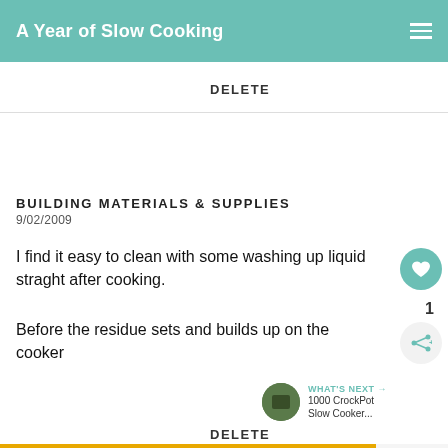A Year of Slow Cooking
DELETE
BUILDING MATERIALS & SUPPLIES
9/02/2009
I find it easy to clean with some washing up liquid straght after cooking.
Before the residue sets and builds up on the cooker
DELETE
[Figure (other): FIND THE ONE advertisement banner with dog image]